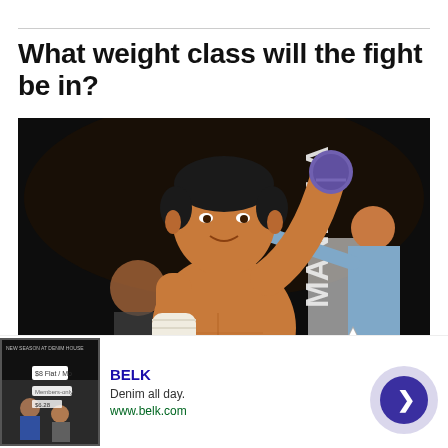What weight class will the fight be in?
[Figure (photo): A shirtless boxer with short dark hair raises both fists in victory. His right fist is wrapped in white tape, his left wrist has a purple/blue glove or wrap. A referee in a light blue shirt and bow tie holds his left arm up. Another person is visible in the background. A boxing ring corner is visible behind them.]
BELK
Denim all day.
www.belk.com